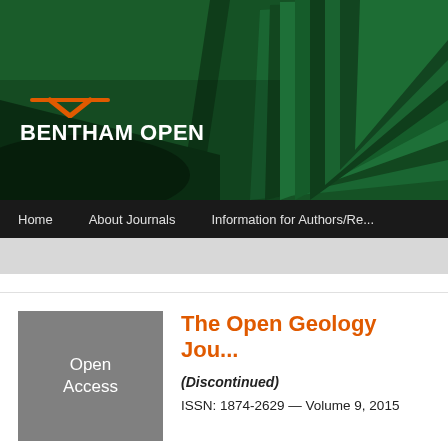[Figure (screenshot): Bentham Open website header banner with green book background and Bentham Open logo (orange bird/checkmark icon with white bold text 'BENTHAM OPEN')]
Home    About Journals    Information for Authors/Re...
The Open Geology Jou...
(Discontinued)
ISSN: 1874-2629 — Volume 9, 2015